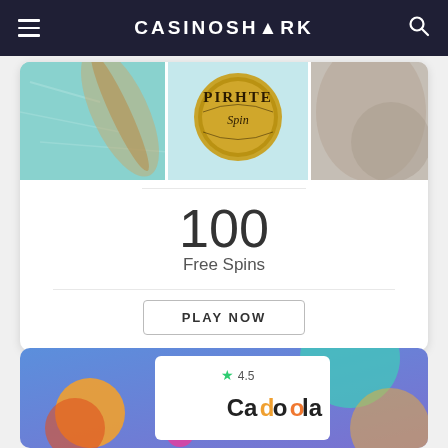CASINOSHARK
[Figure (screenshot): Pirate Spin casino game banner with three panel image: left panel shows teal/blue water themed background, center panel shows Pirate Spin logo on gold coin, right panel shows sandy/beige blurred background]
100
Free Spins
PLAY NOW
[Figure (screenshot): Cadoola casino card with blue/purple gradient background with colorful orbs (orange, teal, pink), white inner card showing 4.5 star rating and Cadoola logo]